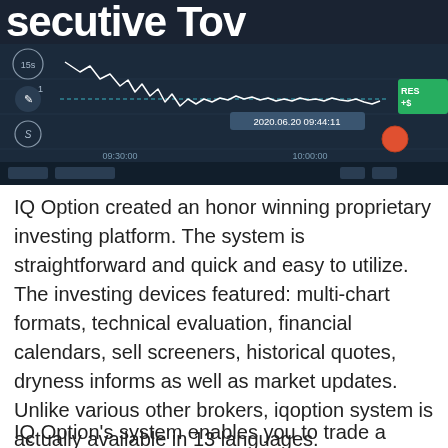[Figure (screenshot): Screenshot of IQ Option trading platform showing a candlestick/line chart with dark background. Chart shows price action around $100, with timestamp 2020.06.20 09:44:11 visible. Time range shows 09:30:00 to 10:00:00. Green 'RES' button visible on right with '+$' text. Indicators '15s', '1', 'S' visible on left side. Red dashed line at $100 level.]
IQ Option created an honor winning proprietary investing platform. The system is straightforward and quick and easy to utilize. The investing devices featured: multi-chart formats, technical evaluation, financial calendars, sell screeners, historical quotes, dryness informs as well as market updates. Unlike various other brokers, iqoption system is actually available in 13 languages.
IQ Option's system enables you to trade a